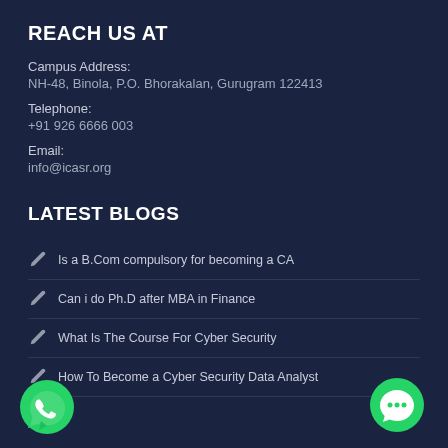REACH US AT
Campus Address:
NH-48, Binola, P.O. Bhorakalan, Gurugram 122413
Telephone:
+91 926 6666 003
Email:
info@icasr.org
LATEST BLOGS
Is a B.Com compulsory for becoming a CA
Can i do Ph.D after MBA in Finance
What Is The Course For Cyber Security
How To Become a Cyber Security Data Analyst
[Figure (logo): WhatsApp green circular button with phone handset icon, bottom-left corner]
[Figure (logo): Green circular chat/messenger button with speech bubble and three dots, bottom-right corner]